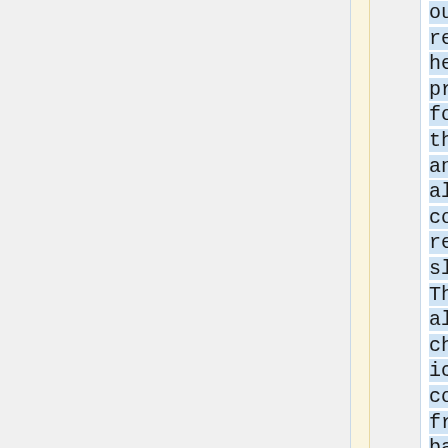out. This reduces the heat projected forward by the lamp, and also alters its colour rendition slightly. These lamps also have a characteristic pinkish colour spill from the back of the lamp which makes them more attractive